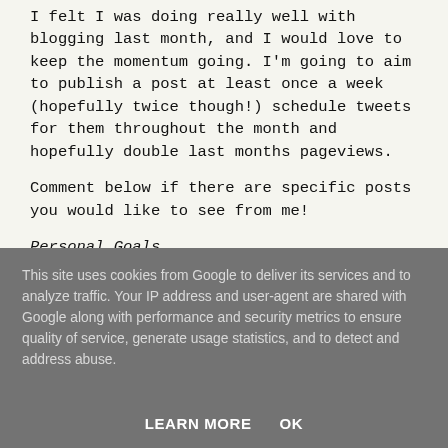I felt I was doing really well with blogging last month, and I would love to keep the momentum going. I'm going to aim to publish a post at least once a week (hopefully twice though!) schedule tweets for them throughout the month and hopefully double last months pageviews.
Comment below if there are specific posts you would like to see from me!
Personal Goals
This site uses cookies from Google to deliver its services and to analyze traffic. Your IP address and user-agent are shared with Google along with performance and security metrics to ensure quality of service, generate usage statistics, and to detect and address abuse.
LEARN MORE   OK